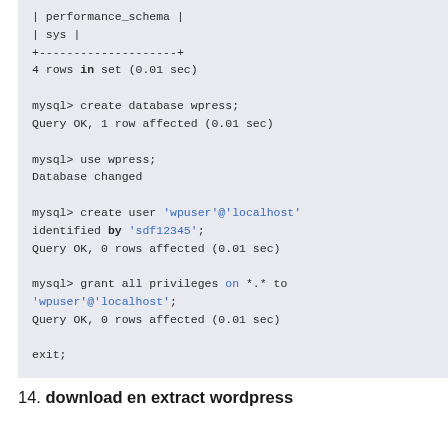| performance_schema |
| sys               |
+--------------------+
4 rows in set (0.01 sec)

mysql> create database wpress;
Query OK, 1 row affected (0.01 sec)

mysql> use wpress;
Database changed

mysql> create user 'wpuser'@'localhost'
identified by 'sdf12345';
Query OK, 0 rows affected (0.01 sec)

mysql> grant all privileges on *.* to
'wpuser'@'localhost';
Query OK, 0 rows affected (0.01 sec)

exit;
14. download en extract wordpress